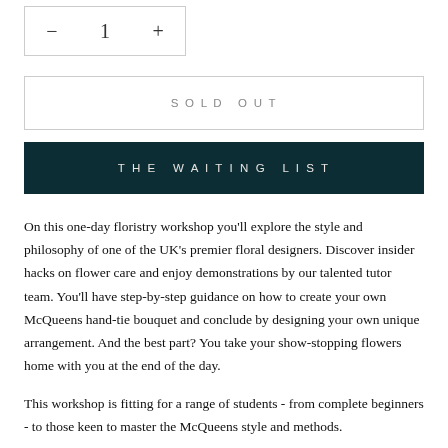− 1 +
SOLD OUT
THE WAITING LIST
On this one-day floristry workshop you'll explore the style and philosophy of one of the UK's premier floral designers. Discover insider hacks on flower care and enjoy demonstrations by our talented tutor team. You'll have step-by-step guidance on how to create your own McQueens hand-tie bouquet and conclude by designing your own unique arrangement. And the best part? You take your show-stopping flowers home with you at the end of the day.
This workshop is fitting for a range of students - from complete beginners - to those keen to master the McQueens style and methods.